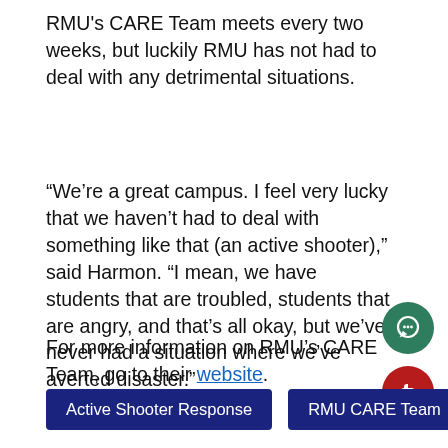RMU's CARE Team meets every two weeks, but luckily RMU has not had to deal with any detrimental situations.
“We’re a great campus. I feel very lucky that we haven’t had to deal with something like that (an active shooter),” said Harmon. “I mean, we have students that are troubled, students that are angry, and that’s all okay, but we’ve never had a situation where we’ve averted disaster.”
For more information on RMU’s CARE Team, go to their website.